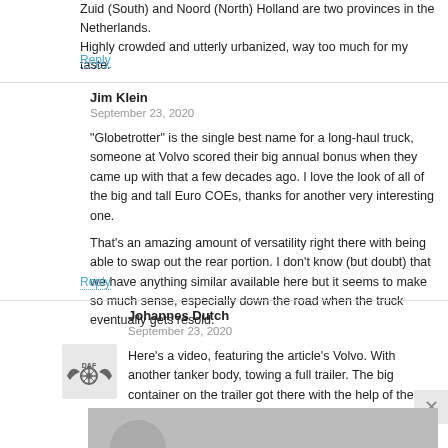Zuid (South) and Noord (North) Holland are two provinces in the Netherlands. Highly crowded and utterly urbanized, way too much for my taste.
Reply
Jim Klein
September 23, 2020
"Globetrotter" is the single best name for a long-haul truck, someone at Volvo scored their big annual bonus when they came up with that a few decades ago. I love the look of all of the big and tall Euro COEs, thanks for another very interesting one.
That's an amazing amount of versatility right there with being able to swap out the rear portion. I don't know (but doubt) that we have anything similar available here but it seems to make so much sense, especially down the road when the truck eventually gets resold.
Reply
Johannes Dutch
September 23, 2020
Here's a video, featuring the article's Volvo. With another tanker body, towing a full trailer. The big container on the trailer got there with the help of the truck's hooklift hoist.
[Figure (photo): Avatar logo with DAF truck brand icon (wings and wheel symbol)]
[Figure (photo): Bottom image strip showing partial image, appears to be a person/avatar silhouette in gray]